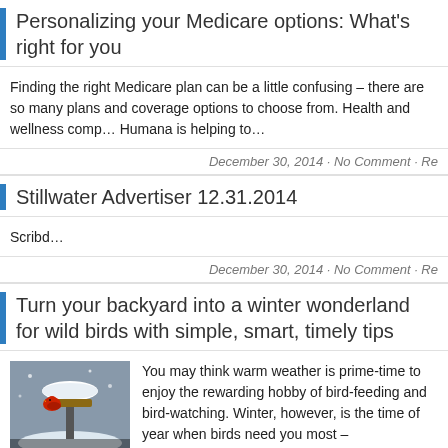Personalizing your Medicare options: What's right for you
Finding the right Medicare plan can be a little confusing – there are so many plans and coverage options to choose from. Health and wellness company Humana is helping to…
December 30, 2014 · No Comment · Re
Stillwater Advertiser 12.31.2014
Scribd…
December 30, 2014 · No Comment · Re
Turn your backyard into a winter wonderland for wild birds with simple, smart, timely tips
[Figure (photo): A bird feeder covered in snow with a red cardinal bird visible]
You may think warm weather is prime-time to enjoy the rewarding hobby of bird-feeding and bird-watching. Winter, however, is the time of year when birds need you most –